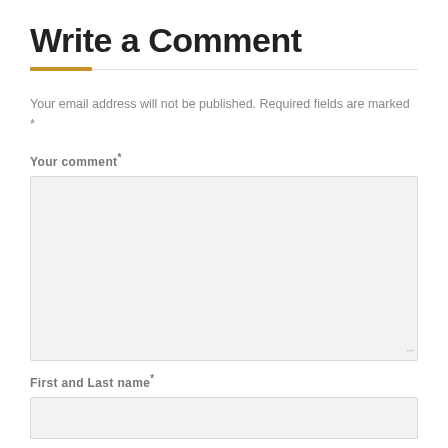Write a Comment
Your email address will not be published. Required fields are marked *
Your comment*
First and Last name*